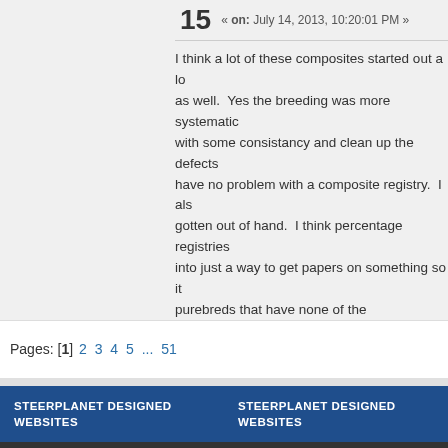15 « on: July 14, 2013, 10:20:01 PM »
I think a lot of these composites started out a lo as well.  Yes the breeding was more systematic with some consistancy and clean up the defects have no problem with a composite registry.  I als gotten out of hand.  I think percentage registries into just a way to get papers on something so it purebreds that have none of the characteristics
Pages: [1] 2 3 4 5 ... 51
STEERPLANET DESIGNED WEBSITES
STEERPLANET DESIGNED WEBSITES